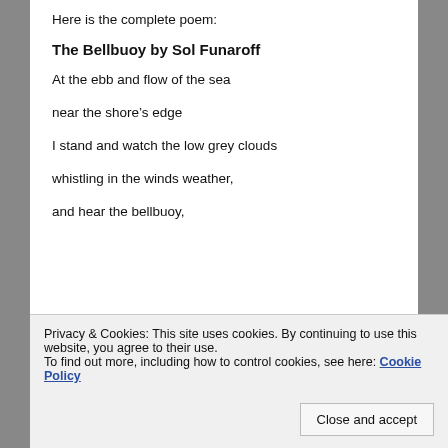Here is the complete poem:
The Bellbuoy by Sol Funaroff
At the ebb and flow of the sea
near the shore's edge
I stand and watch the low grey clouds
whistling in the winds weather,
and hear the bellbuoy,
Privacy & Cookies: This site uses cookies. By continuing to use this website, you agree to their use.
To find out more, including how to control cookies, see here: Cookie Policy